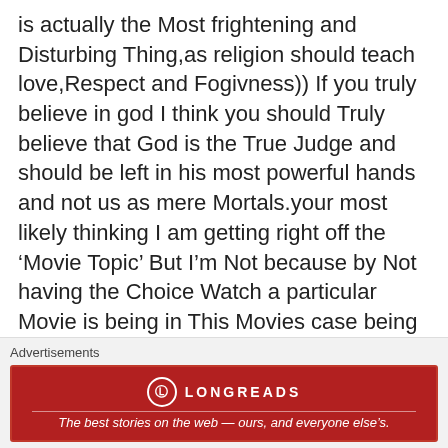is actually the Most frightening and Disturbing Thing,as religion should teach love,Respect and Fogivness)) If you truly believe in god I think you should Truly believe that God is the True Judge and should be left in his most powerful hands and not us as mere Mortals.your most likely thinking I am getting right off the ‘Movie Topic’ But I’m Not because by Not having the Choice Watch a particular Movie is being in This Movies case being Dictated by Religous figures and organisations who have a strong hold on Politics. I’m sick of being trying to instil hate in me,More the Fact that its a Turkish hate.But as I
Advertisements
[Figure (other): Longreads advertisement banner with red background. Logo shows a circle with L icon and LONGREADS text. Tagline: The best stories on the web — ours, and everyone else's.]